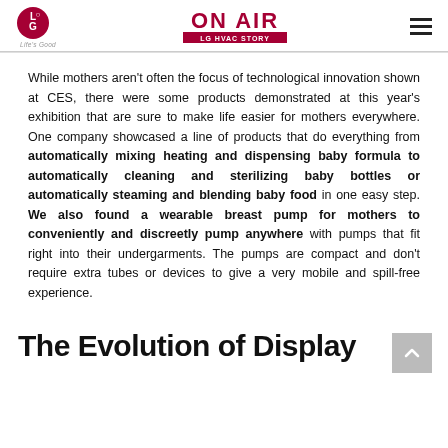LG | ON AIR LG HVAC STORY
While mothers aren't often the focus of technological innovation shown at CES, there were some products demonstrated at this year's exhibition that are sure to make life easier for mothers everywhere. One company showcased a line of products that do everything from automatically mixing heating and dispensing baby formula to automatically cleaning and sterilizing baby bottles or automatically steaming and blending baby food in one easy step. We also found a wearable breast pump for mothers to conveniently and discreetly pump anywhere with pumps that fit right into their undergarments. The pumps are compact and don't require extra tubes or devices to give a very mobile and spill-free experience.
The Evolution of Display